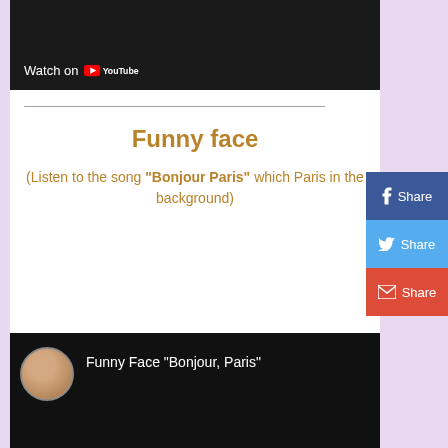[Figure (screenshot): YouTube video embed showing dark/black video frame with Watch on YouTube badge at bottom left]
Funny face
(Listen to the song "Bonjour Paris" which Paris in the background)
[Figure (screenshot): YouTube video embed showing Funny Face "Bonjour, Paris" with circular avatar thumbnail and black video area]
[Figure (infographic): Social share buttons: Facebook Share (dark blue), Twitter Share (light blue), Email Share (red-orange)]